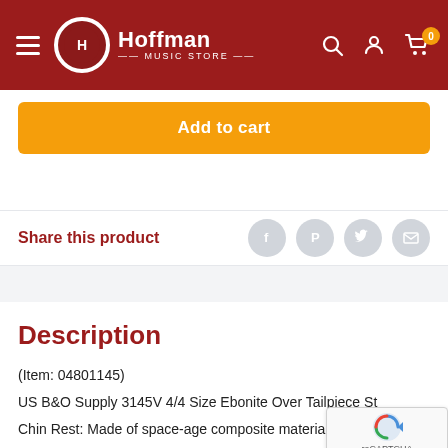Hoffman Music Store
Add to cart
Share this product
Description
(Item: 04801145)
US B&O Supply 3145V 4/4 Size Ebonite Over Tailpiece Style Chin Rest: Made of space-age composite material, light and Tailpiece Includes a Wittner nylon tail gut - tail cord